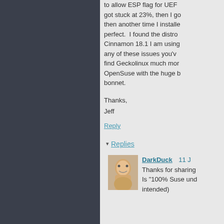to allow ESP flag for UEF got stuck at 23%, then I go then another time I installe perfect. I found the distro Cinnamon 18.1 I am using any of these issues you'v find Geckolinux much mor OpenSuse with the huge b bonnet.
Thanks,
Jeff
Reply
Replies
DarkDuck  11 J
Thanks for sharing Is "100% Suse und intended)